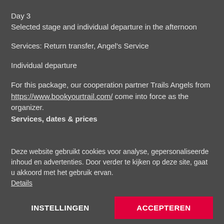Day 3
Selected stage and individual departure in the afternoon
Services: Return transfer, Angel's Service
Individual departure
For this package, our cooperation partner Trails Angels from https://www.bookyourtrail.com/ come into force as the organizer.
Services, dates & prices
Deze website gebruikt cookies voor analyse, gepersonaliseerde inhoud en advertenties. Door verder te kijken op deze site, gaat u akkoord met het gebruik ervan. Details
INSTELLINGEN
ACCEPTEREN